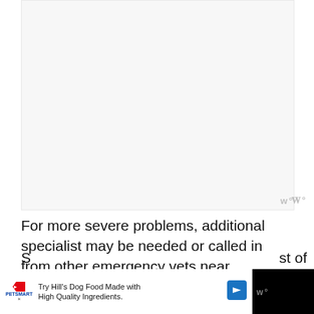[Figure (other): Blank/placeholder image area at top of page, light gray background]
For more severe problems, additional specialist may be needed or called in from other emergency vets near Modesto.
Diagnostics, x-rays, IV fluids, medications and monitoring equipment, all add to the cost of caring for your pet while they are an animal hospital.
S... st of
[Figure (infographic): PetSmart advertisement bar: Try Hill's Dog Food Made with High Quality Ingredients.]